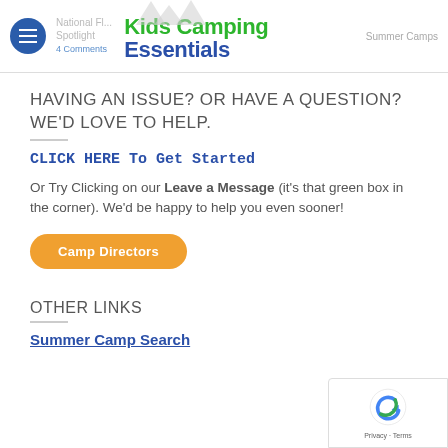Kids Camping Essentials — National Fl... Spotlight | Summer Camps | 4 Comments
HAVING AN ISSUE? OR HAVE A QUESTION? WE'D LOVE TO HELP.
CLICK HERE To Get Started
Or Try Clicking on our Leave a Message (it's that green box in the corner).  We'd be happy to help you even sooner!
Camp Directors
OTHER LINKS
Summer Camp Search